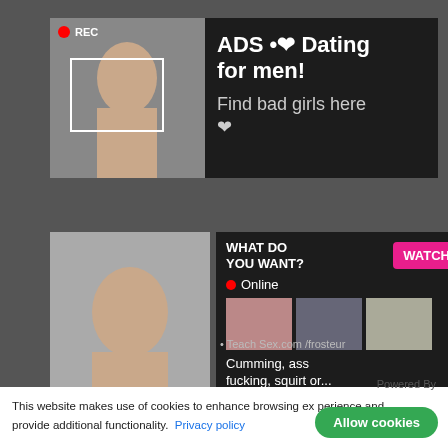[Figure (screenshot): Adult website screenshot with two advertising popups overlaying explicit content. Top popup shows a dark box with a woman taking a selfie and text 'ADS • ❤ Dating for men! Find bad girls here ❤'. Bottom-right popup shows 'WHAT DO YOU WANT?' with a pink WATCH button, Online indicator, thumbnail images, and text 'Cumming, ass fucking, squirt or... • ADS'. Cookie consent banner at bottom reads 'This website makes use of cookies to enhance browsing experience and provide additional functionality.' with a Privacy policy link, Powered By text, and green Allow cookies button.]
ADS • ❤ Dating for men! Find bad girls here ❤
WHAT DO YOU WANT?
Online
Cumming, ass fucking, squirt or...
• ADS
This website makes use of cookies to enhance browsing experience and provide additional functionality.
Powered By
Allow cookies